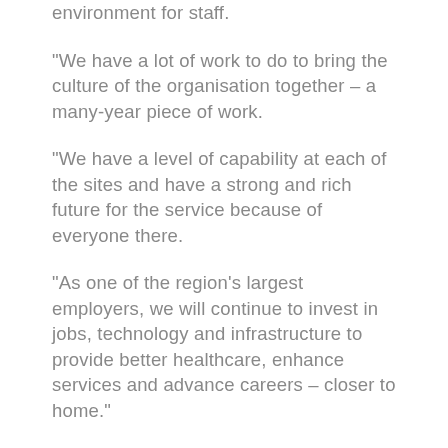environment for staff.
“We have a lot of work to do to bring the culture of the organisation together – a many-year piece of work.
“We have a level of capability at each of the sites and have a strong and rich future for the service because of everyone there.
“As one of the region’s largest employers, we will continue to invest in jobs, technology and infrastructure to provide better healthcare, enhance services and advance careers – closer to home.”
The report provides updates to the five benefits the amalgamation proposed: Increasing community access to services; building the strength and capacity of each